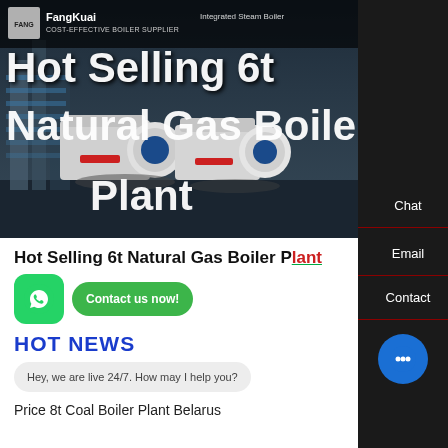[Figure (photo): Hero banner showing industrial natural gas boilers in dark blue/grey setting with company logo and navigation header]
Hot Selling 6t Natural Gas Boiler Plant
Contact us now!
HOT NEWS
Hey, we are live 24/7. How may I help you?
Price 8t Coal Boiler Plant Belarus